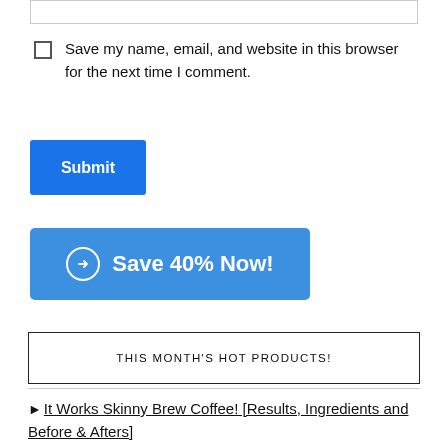Save my name, email, and website in this browser for the next time I comment.
Submit
➔ Save 40% Now!
THIS MONTH'S HOT PRODUCTS!
► It Works Skinny Brew Coffee! [Results, Ingredients and Before & Afters]